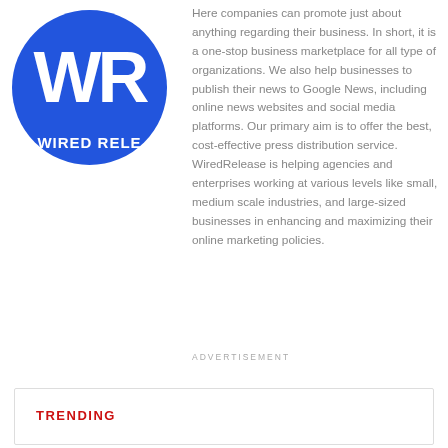[Figure (logo): WiredRelease logo: blue circle with white 'WR' letters and text 'WIRED RELE' at the bottom]
Here companies can promote just about anything regarding their business. In short, it is a one-stop business marketplace for all type of organizations. We also help businesses to publish their news to Google News, including online news websites and social media platforms. Our primary aim is to offer the best, cost-effective press distribution service. WiredRelease is helping agencies and enterprises working at various levels like small, medium scale industries, and large-sized businesses in enhancing and maximizing their online marketing policies.
ADVERTISEMENT
TRENDING